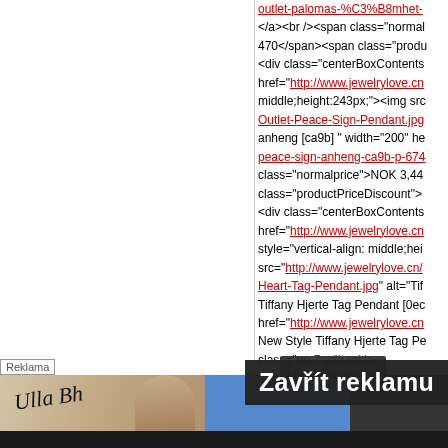outlet-palomas-%C3%B8mhet-</a><br /><span class="normal 470</span><span class="produ <div class="centerBoxContents href="http://www.jewelrylove.cn middle;height:243px;"><img src Outlet-Peace-Sign-Pendant.jpg anheng [ca9b] " width="200" he peace-sign-anheng-ca9b-p-674 class="normalprice">NOK 3,44 class="productPriceDiscount"> <div class="centerBoxContents href="http://www.jewelrylove.cn style="vertical-align: middle;hei src="http://www.jewelrylove.cn/ Heart-Tag-Pendant.jpg" alt="Tif Tiffany Hjerte Tag Pendant [0ec href="http://www.jewelrylove.cn New Style Tiffany Hjerte Tag Pe class="no syla
[Figure (screenshot): Screenshot of a webpage showing HTML source code with red hyperlinks to jewelrylove.cn, overlaid with an advertisement banner. The banner shows a grey area with a partially visible photo of a person, a blue section, and a 'Zavřít reklamu' (Close ad) button. Below is a dark advertisement for 'Dotace na fotovoltaiku?' (Subsidies for photovoltaics?) with white text and a red arrow button.]
Reklama
Zavřít reklamu
Dotace na fotovoltaiku?
Jak velkou fotovoltaickou elektrárnu si můžete pořídit, aby se vám vyplatila.